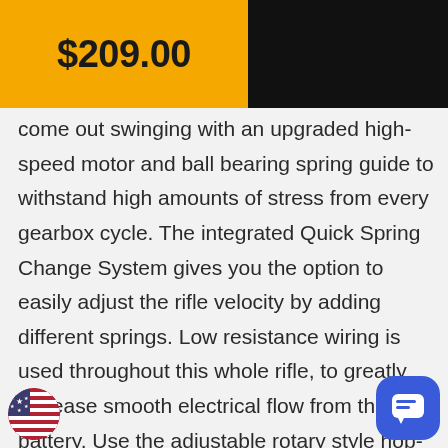$209.00
come out swinging with an upgraded high-speed motor and ball bearing spring guide to withstand high amounts of stress from every gearbox cycle. The integrated Quick Spring Change System gives you the option to easily adjust the rifle velocity by adding different springs. Low resistance wiring is used throughout this whole rifle, to greatly increase smooth electrical flow from the battery. Use the adjustable rotary style hop-up to account for range and wind conditions, making sure no enemy is safe! Run onto the battlefield confident you have what it takes to come o